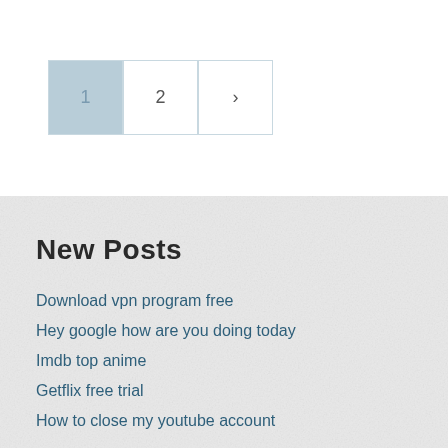Pagination: 1 (active), 2, >
New Posts
Download vpn program free
Hey google how are you doing today
Imdb top anime
Getflix free trial
How to close my youtube account